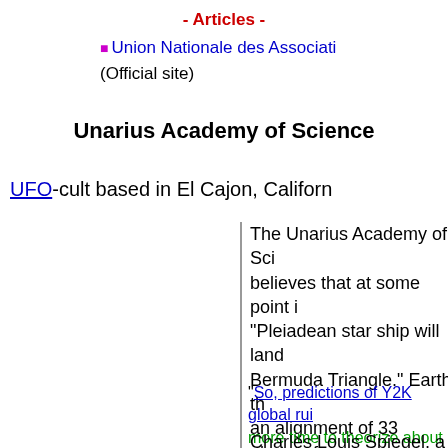- Articles -
■ Union Nationale des Associati... (Official site)
Unarius Academy of Science
UFO-cult based in El Cajon, Californ...
The Unarius Academy of Science believes that at some point in... "Pleiadean star ship will land... Bermuda Triangle." Earth, th... an alignment of 33 planets fo... renaissance of humankind o...
"So, predictions of Y2K global rui... more time to theorize about the re...
Charles Louis Spiegel, a cos... and extra-terrestrial life as di... has died. He was 78.
Mr. Spiegel died in his sleep...